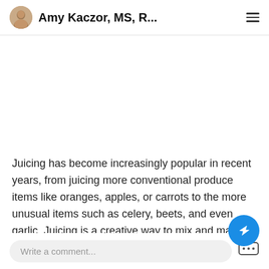Amy Kaczor, MS, R...
Juicing has become increasingly popular in recent years, from juicing more conventional produce items like oranges, apples, or carrots to the more unusual items such as celery, beets, and even garlic. Juicing is a creative way to mix and match our favorit